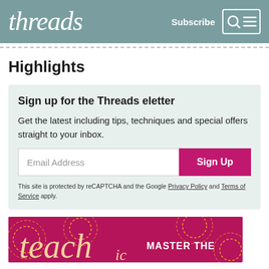threads — Subscribe
Highlights
Sign up for the Threads eletter
Get the latest including tips, techniques and special offers straight to your inbox.
Email Address
Sign Up
This site is protected by reCAPTCHA and the Google Privacy Policy and Terms of Service apply.
[Figure (illustration): Magenta/pink banner with 'teach' in large italic serif font and 'MASTER THE' in bold white caps, with decorative dashed circular patterns on a dark pink background.]